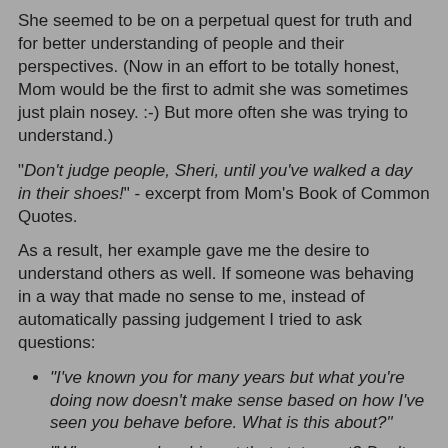She seemed to be on a perpetual quest for truth and for better understanding of people and their perspectives.  (Now in an effort to be totally honest, Mom would be the first to admit she was sometimes just plain nosey.  :-)  But more often she was trying to understand.)
"Don't judge people, Sheri, until you've walked a day in their shoes!" - excerpt from Mom's Book of Common Quotes.
As a result, her example gave me the desire to understand others as well.  If someone was behaving in a way that made no sense to me, instead of automatically passing judgement I tried to ask questions:
"I've known you for many years but what you're doing now doesn't make sense based on how I've seen you behave before.  What is this about?"
"Why are you laughing at that statement?  Don't you know how hurtful it is to the other person?"
"You don't seem like an angry person most of the time, where are those harsh, caustic words